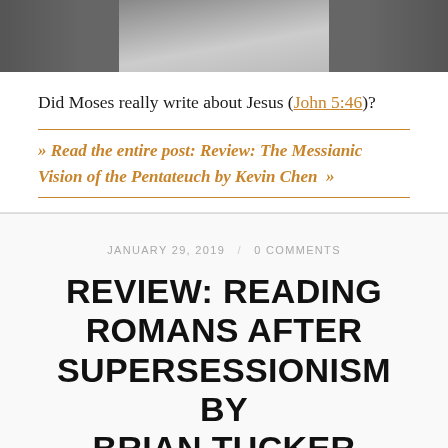[Figure (photo): Black and white photo strip, partially visible at top of page, showing a cropped figure]
Did Moses really write about Jesus (John 5:46)?
» Read the entire post: Review: The Messianic Vision of the Pentateuch by Kevin Chen »
JANUARY 29, 2019  /  0 COMMENTS
REVIEW: READING ROMANS AFTER SUPERSESSIONISM BY BRIAN TUCKER